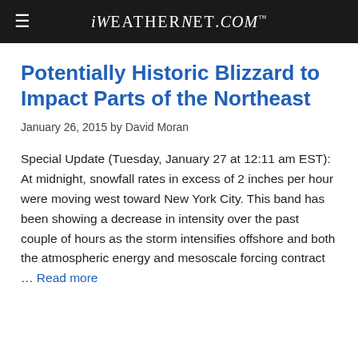iWeatherNet.com
Potentially Historic Blizzard to Impact Parts of the Northeast
January 26, 2015 by David Moran
Special Update (Tuesday, January 27 at 12:11 am EST):  At midnight, snowfall rates in excess of 2 inches per hour were moving west toward New York City. This band has been showing a decrease in intensity over the past couple of hours as the storm intensifies offshore and both the atmospheric energy and mesoscale forcing contract … Read more